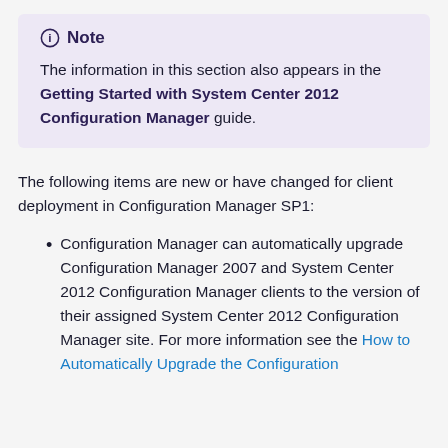Note — The information in this section also appears in the Getting Started with System Center 2012 Configuration Manager guide.
The following items are new or have changed for client deployment in Configuration Manager SP1:
Configuration Manager can automatically upgrade Configuration Manager 2007 and System Center 2012 Configuration Manager clients to the version of their assigned System Center 2012 Configuration Manager site. For more information see the How to Automatically Upgrade the Configuration